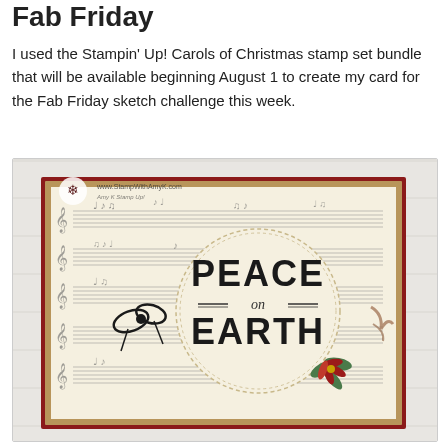Fab Friday
I used the Stampin' Up! Carols of Christmas stamp set bundle that will be available beginning August 1 to create my card for the Fab Friday sketch challenge this week.
[Figure (photo): A handmade Christmas card featuring a red frame with vintage sheet music background paper. A large circular element is centered displaying 'PEACE on EARTH' in bold black lettering. A red poinsettia embellishment is visible at the bottom right. A black twine bow is tied at the left side. The card is photographed on a white wood surface. A watermark reads www.StampWithAmyK.com with a snowflake logo in the top left corner.]